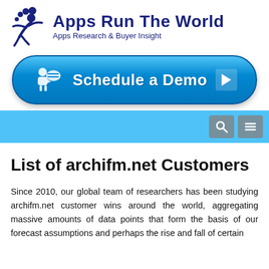[Figure (logo): Apps Run The World logo with figure icon and dots, company name in dark navy bold text, subtitle 'Apps Research & Buyer Insight']
[Figure (other): Blue rounded button with person/megaphone icon reading 'Schedule a Demo' with a play arrow on the right]
[Figure (other): Light blue navigation bar with search icon button and hamburger menu icon button on the right]
List of archifm.net Customers
Since 2010, our global team of researchers has been studying archifm.net customer wins around the world, aggregating massive amounts of data points that form the basis of our forecast assumptions and perhaps the rise and fall of certain